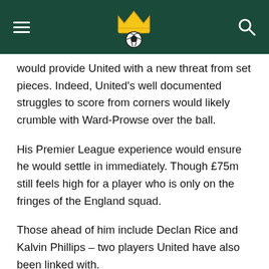Soccer/Football news website header with hamburger menu, crown and soccer ball logo, and search icon
would provide United with a new threat from set pieces. Indeed, United's well documented struggles to score from corners would likely crumble with Ward-Prowse over the ball.
His Premier League experience would ensure he would settle in immediately. Though £75m still feels high for a player who is only on the fringes of the England squad.
Those ahead of him include Declan Rice and Kalvin Phillips – two players United have also been linked with.